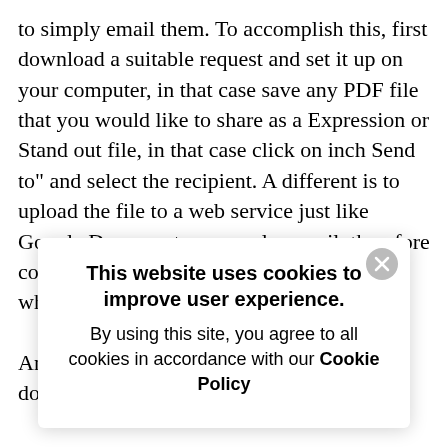to simply email them. To accomplish this, first download a suitable request and set it up on your computer, in that case save any PDF file that you would like to share as a Expression or Stand out file, in that case click on inch Send to" and select the recipient. A different is to upload the file to a web service just like Google Documents or google e-mail, therefore copy and paste with your email and send while an addition.

Another option should be to upload the document with an...
[Figure (screenshot): Cookie consent popup overlay with close button (gray X circle), bold title 'This website uses cookies to improve user experience.', and body text 'By using this site, you agree to all cookies in accordance with our Cookie Policy' where 'Cookie Policy' is bold.]